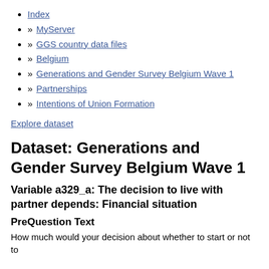Index
» MyServer
» GGS country data files
» Belgium
» Generations and Gender Survey Belgium Wave 1
» Partnerships
» Intentions of Union Formation
Explore dataset
Dataset: Generations and Gender Survey Belgium Wave 1
Variable a329_a: The decision to live with partner depends: Financial situation
PreQuestion Text
How much would your decision about whether to start or not to